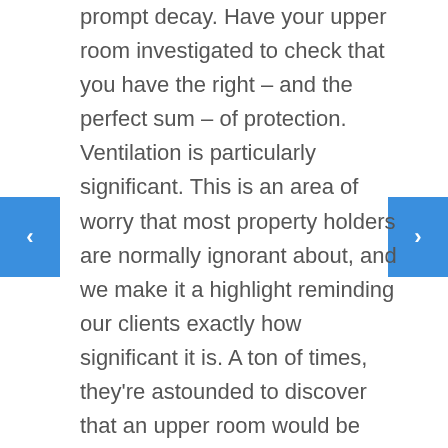prompt decay. Have your upper room investigated to check that you have the right – and the perfect sum – of protection. Ventilation is particularly significant. This is an area of worry that most property holders are normally ignorant about, and we make it a highlight reminding our clients exactly how significant it is. A ton of times, they're astounded to discover that an upper room would be able to "sweat." How? Warm air will rise, contact the chilly, inside compressed wood of the rooftop, and create buildup, which prompts shape development and decaying compressed wood. Ensure